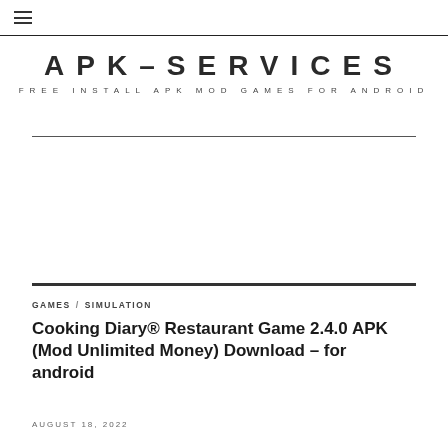≡
APK-SERVICES
FREE INSTALL APK MOD GAMES FOR ANDROID
GAMES / SIMULATION
Cooking Diary® Restaurant Game 2.4.0 APK (Mod Unlimited Money) Download – for android
AUGUST 18, 2022